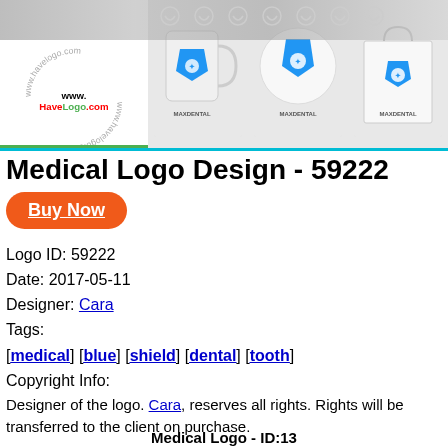[Figure (illustration): Banner showing HaveLogo.com watermark on left and MaxDental logo mockups on mugs and bag on right]
Medical Logo Design - 59222
Buy Now
Logo ID: 59222
Date: 2017-05-11
Designer: Cara
Tags:
[medical] [blue] [shield] [dental] [tooth]
Copyright Info:
Designer of the logo. Cara, reserves all rights. Rights will be transferred to the client on purchase.
Medical Logo - ID:13